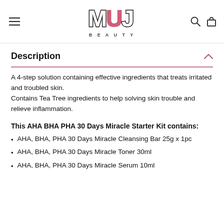MUJ BEAUTY
Description
A 4-step solution containing effective ingredients that treats irritated and troubled skin.
Contains Tea Tree ingredients to help solving skin trouble and relieve inflammation.
This AHA BHA PHA 30 Days Miracle Starter Kit contains:
AHA, BHA, PHA 30 Days Miracle Cleansing Bar 25g x 1pc
AHA, BHA, PHA 30 Days Miracle Toner 30ml
AHA, BHA, PHA 30 Days Miracle Serum 10ml